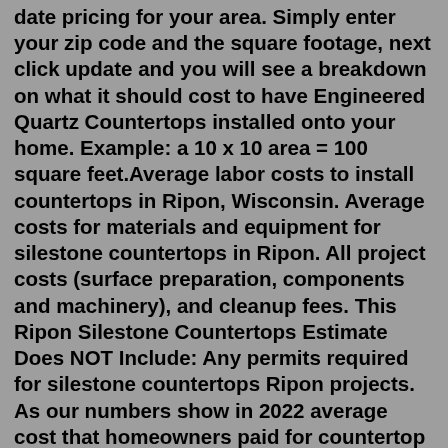date pricing for your area. Simply enter your zip code and the square footage, next click update and you will see a breakdown on what it should cost to have Engineered Quartz Countertops installed onto your home. Example: a 10 x 10 area = 100 square feet.Average labor costs to install countertops in Ripon, Wisconsin. Average costs for materials and equipment for silestone countertops in Ripon. All project costs (surface preparation, components and machinery), and cleanup fees. This Ripon Silestone Countertops Estimate Does NOT Include: Any permits required for silestone countertops Ripon projects. As our numbers show in 2022 average cost that homeowners paid for countertop installation in Fond Du Lac county is between $910.00 and $6,072.00. This Silestone Countertops Ripon Quote Includes: Average labor costs to install countertops in Ripon, Wisconsin. Average costs for materials and equipment for silestone countertops in Ripon.Silestone offers a wide range of colors, formats, thicknesses and finishes to make your project unique